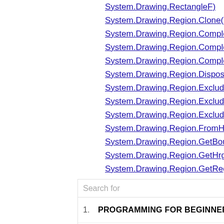System.Drawing.RectangleF)
System.Drawing.Region.Clone()
System.Drawing.Region.Complement(System.Dr...
System.Drawing.Region.Complement(System.Dr...
System.Drawing.Region.Complement(System.Dr...
System.Drawing.Region.Dispose()
System.Drawing.Region.Exclude(System.Drawing...
System.Drawing.Region.Exclude(System.Drawing...
System.Drawing.Region.Exclude(System.Drawing...
System.Drawing.Region.FromHrgn(System.IntPtr...
System.Drawing.Region.GetBounds(System.Dra...
System.Drawing.Region.GetHrgn(System.Drawing...
System.Drawing.Region.GetRegionData()
System.Drawing.Region.GetRegionScans(Syster...
[Figure (infographic): Advertisement box with search bar, two search results: 1. PROGRAMMING FOR BEGINNERS, 2. FOB PROGRAMMING, and Glocal Search branding at bottom]